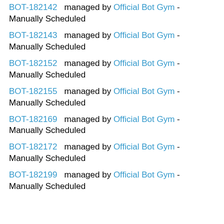BOT-182142 managed by Official Bot Gym - Manually Scheduled
BOT-182143 managed by Official Bot Gym - Manually Scheduled
BOT-182152 managed by Official Bot Gym - Manually Scheduled
BOT-182155 managed by Official Bot Gym - Manually Scheduled
BOT-182169 managed by Official Bot Gym - Manually Scheduled
BOT-182172 managed by Official Bot Gym - Manually Scheduled
BOT-182199 managed by Official Bot Gym - Manually Scheduled